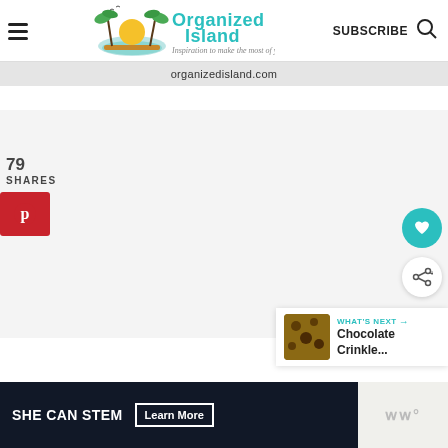Organized Island — Inspiration to make the most of your time | SUBSCRIBE
organizedisland.com
79
SHARES
[Figure (logo): Pinterest share button — red square with Pinterest 'p' icon]
[Figure (icon): Teal circular heart/save button]
[Figure (icon): White circular share button]
[Figure (screenshot): What's Next panel: thumbnail of chocolate crinkle cookies, label 'WHAT'S NEXT →', title 'Chocolate Crinkle...']
[Figure (infographic): Ad banner: 'SHE CAN STEM' with 'Learn More' button on dark background, and right side with 'WW°' logo on light background]